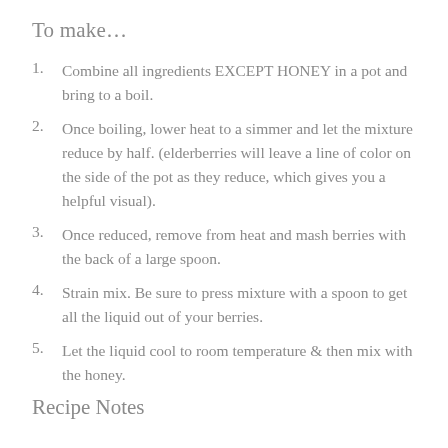To make…
Combine all ingredients EXCEPT HONEY in a pot and bring to a boil.
Once boiling, lower heat to a simmer and let the mixture reduce by half. (elderberries will leave a line of color on the side of the pot as they reduce, which gives you a helpful visual).
Once reduced, remove from heat and mash berries with the back of a large spoon.
Strain mix. Be sure to press mixture with a spoon to get all the liquid out of your berries.
Let the liquid cool to room temperature & then mix with the honey.
Recipe Notes